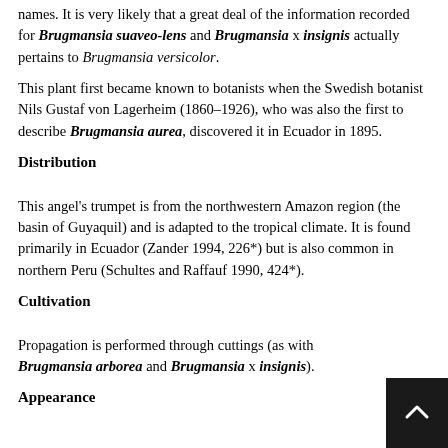names. It is very likely that a great deal of the information recorded for Brugmansia suaveo-lens and Brugmansia x insignis actually pertains to Brugmansia versicolor.
This plant first became known to botanists when the Swedish botanist Nils Gustaf von Lagerheim (1860–1926), who was also the first to describe Brugmansia aurea, discovered it in Ecuador in 1895.
Distribution
This angel's trumpet is from the northwestern Amazon region (the basin of Guyaquil) and is adapted to the tropical climate. It is found primarily in Ecuador (Zander 1994, 226*) but is also common in northern Peru (Schultes and Raffauf 1990, 424*).
Cultivation
Propagation is performed through cuttings (as with Brugmansia arborea and Brugmansia x insignis).
Appearance